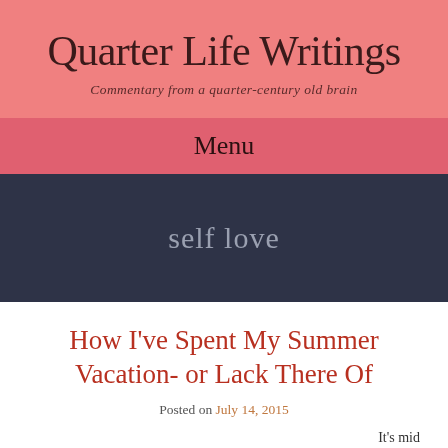Quarter Life Writings
Commentary from a quarter-century old brain
Menu
self love
How I've Spent My Summer Vacation- or Lack There Of
Posted on July 14, 2015
It's mid